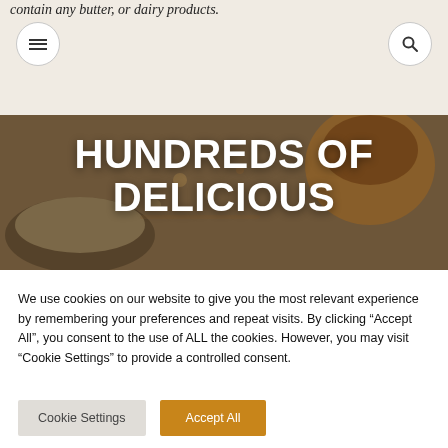contain any butter, or dairy products.
[Figure (screenshot): Navigation bar with hamburger menu icon on left and search icon on right, on a light beige background]
[Figure (photo): Hero image showing food ingredients from above — oats, nuts, honey jar — with large bold white text overlay reading HUNDREDS OF DELICIOUS]
HUNDREDS OF DELICIOUS
We use cookies on our website to give you the most relevant experience by remembering your preferences and repeat visits. By clicking "Accept All", you consent to the use of ALL the cookies. However, you may visit "Cookie Settings" to provide a controlled consent.
Cookie Settings | Accept All